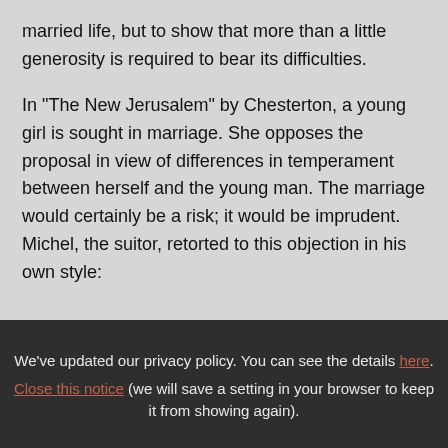married life, but to show that more than a little generosity is required to bear its difficulties.
In "The New Jerusalem" by Chesterton, a young girl is sought in marriage. She opposes the proposal in view of differences in temperament between herself and the young man. The marriage would certainly be a risk; it would be imprudent. Michel, the suitor, retorted to this objection in his own style:
We've updated our privacy policy. You can see the details here. Close this notice (we will save a setting in your browser to keep it from showing again).